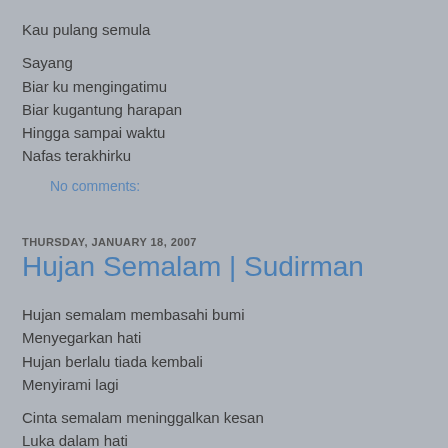Kau pulang semula
Sayang
Biar ku mengingatimu
Biar kugantung harapan
Hingga sampai waktu
Nafas terakhirku
No comments:
THURSDAY, JANUARY 18, 2007
Hujan Semalam | Sudirman
Hujan semalam membasahi bumi
Menyegarkan hati
Hujan berlalu tiada kembali
Menyirami lagi
Cinta semalam meninggalkan kesan
Luka dalam hati
Cinta berlalu bersama hujan